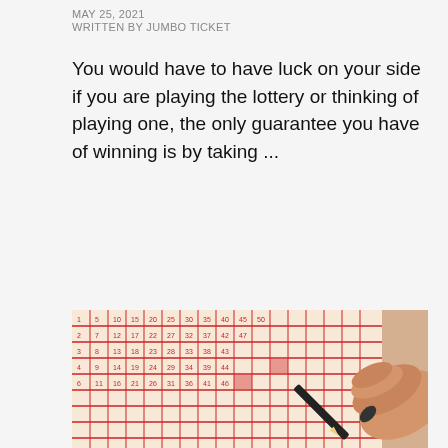MAY 25, 2021
WRITTEN BY JUMBO TICKET
You would have to have luck on your side if you are playing the lottery or thinking of playing one, the only guarantee you have of winning is by taking ...
CONTINUE READING
[Figure (photo): A hand holding a pencil marking numbers on a red lottery ticket/grid sheet]